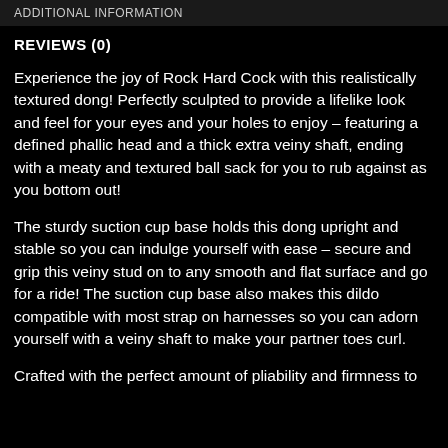ADDITIONAL INFORMATION
REVIEWS (0)
Experience the joy of Rock Hard Cock with this realistically textured dong! Perfectly sculpted to provide a lifelike look and feel for your eyes and your holes to enjoy – featuring a defined phallic head and a thick extra veiny shaft, ending with a meaty and textured ball sack for you to rub against as you bottom out!
The sturdy suction cup base holds this dong upright and stable so you can indulge yourself with ease – secure and grip this veiny stud on to any smooth and flat surface and go for a ride! The suction cup base also makes this dildo compatible with most strap on harnesses so you can adorn yourself with a veiny shaft to make your partner toes curl.
Crafted with the perfect amount of pliability and firmness to